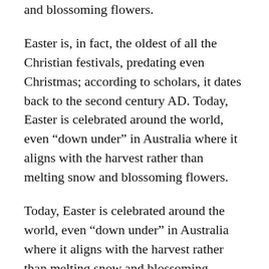and blossoming flowers.
Easter is, in fact, the oldest of all the Christian festivals, predating even Christmas; according to scholars, it dates back to the second century AD. Today, Easter is celebrated around the world, even “down under” in Australia where it aligns with the harvest rather than melting snow and blossoming flowers.
Today, Easter is celebrated around the world, even “down under” in Australia where it aligns with the harvest rather than melting snow and blossoming flowers.